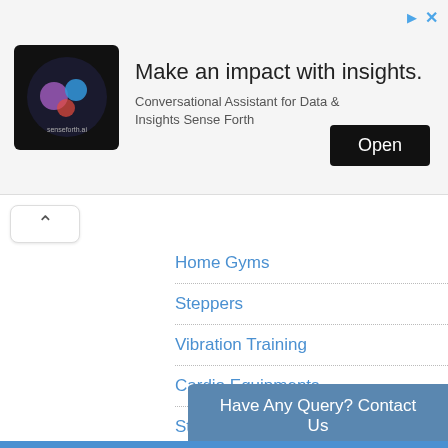[Figure (illustration): Ad banner for senseforth.ai with logo, headline 'Make an impact with insights.', subtext 'Conversational Assistant for Data & Insights Sense Forth', and an Open button]
Home Gyms
Steppers
Vibration Training
Cardio Equipments
Strength Machines
Incline Trainer
Arc Trainer
Treadwall – A Climbing Machine
Have Any Query? Contact Us